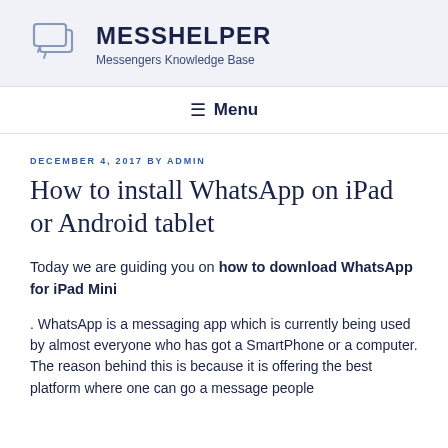MESSHELPER – Messengers Knowledge Base
☰ Menu
DECEMBER 4, 2017 BY ADMIN
How to install WhatsApp on iPad or Android tablet
Today we are guiding you on how to download WhatsApp for iPad Mini. WhatsApp is a messaging app which is currently being used by almost everyone who has got a SmartPhone or a computer. The reason behind this is because it is offering the best platform where one can go a message people